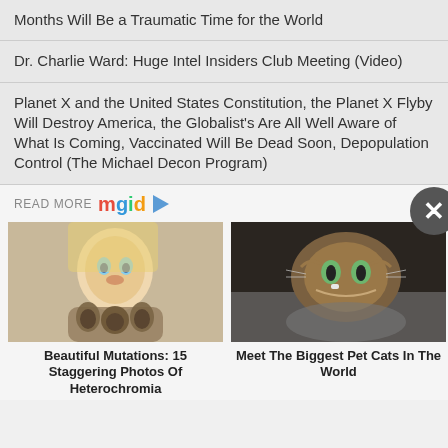Months Will Be a Traumatic Time for the World
Dr. Charlie Ward: Huge Intel Insiders Club Meeting (Video)
Planet X and the United States Constitution, the Planet X Flyby Will Destroy America, the Globalist's Are All Well Aware of What Is Coming, Vaccinated Will Be Dead Soon, Depopulation Control (The Michael Decon Program)
READ MORE mgid
[Figure (photo): Woman with blonde hair holding a puppy dog]
Beautiful Mutations: 15 Staggering Photos Of Heterochromia
[Figure (photo): Close-up photo of a large tabby cat with green eyes resting on gray fabric]
Meet The Biggest Pet Cats In The World